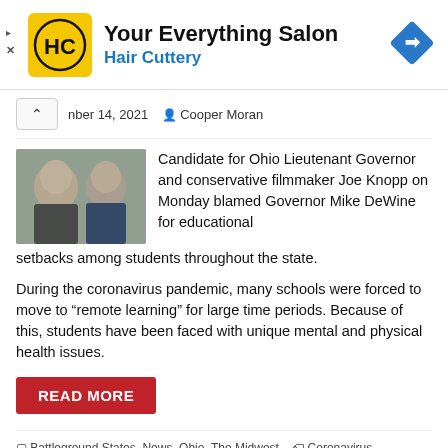[Figure (logo): Hair Cuttery advertisement banner with HC logo in yellow square, text 'Your Everything Salon' and 'Hair Cuttery', blue diamond navigation icon on right]
nber 14, 2021   Cooper Moran
[Figure (photo): Two men side by side - an older man on left and a man in suit on right, appearing to be Joe Knopp and Mike DeWine]
Candidate for Ohio Lieutenant Governor and conservative filmmaker Joe Knopp on Monday blamed Governor Mike DeWine for educational setbacks among students throughout the state.
During the coronavirus pandemic, many schools were forced to move to “remote learning” for large time periods. Because of this, students have been faced with unique mental and physical health issues.
READ MORE
□ Battleground States, News, Ohio, The Midwest   🏷 Coronavirus Pandemic,
Jim Renacci, Joe Knopp, Ohio Governor Mike DeWine, Remote Learning